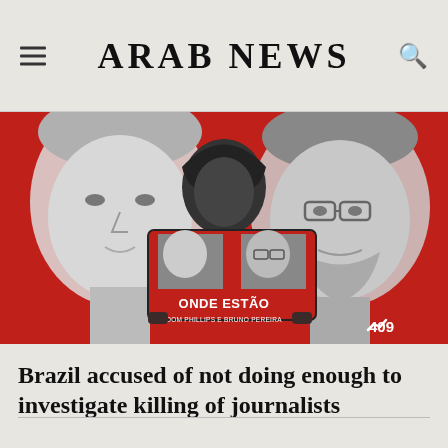ARAB NEWS
[Figure (photo): Person holding a red sign reading 'ONDE ESTÃO DOM PHILLIPS E BRUNO PEREIRA' with black-and-white portraits of Dom Phillips and Bruno Pereira on the placard. Large artistic portraits of the two men appear in the background on a red backdrop. A numeric counter '409' is visible in the lower right corner.]
Brazil accused of not doing enough to investigate killing of journalists